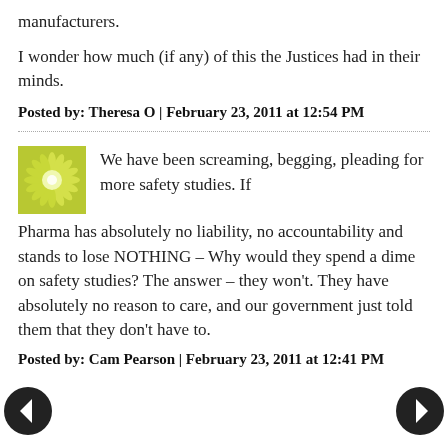manufacturers.
I wonder how much (if any) of this the Justices had in their minds.
Posted by: Theresa O | February 23, 2011 at 12:54 PM
[Figure (illustration): Green/yellow starburst/flower avatar icon]
We have been screaming, begging, pleading for more safety studies. If Pharma has absolutely no liability, no accountability and stands to lose NOTHING – Why would they spend a dime on safety studies? The answer – they won't. They have absolutely no reason to care, and our government just told them that they don't have to.
Posted by: Cam Pearson | February 23, 2011 at 12:41 PM